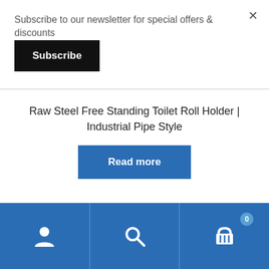Subscribe to our newsletter for special offers & discounts
Subscribe
Raw Steel Free Standing Toilet Roll Holder | Industrial Pipe Style
Read more
[Figure (screenshot): Bottom navigation bar with user account icon, search icon, and shopping cart icon with badge showing 0]
×